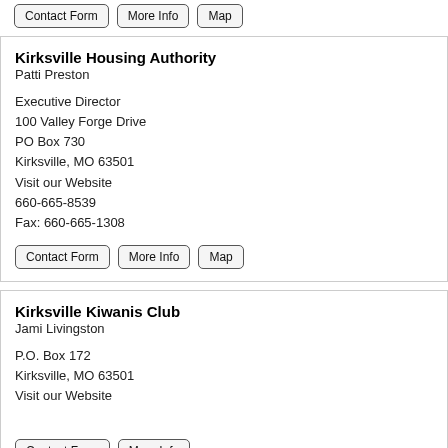Contact Form | More Info | Map
Kirksville Housing Authority
Patti Preston

Executive Director
100 Valley Forge Drive
PO Box 730
Kirksville, MO 63501
Visit our Website
660-665-8539
Fax: 660-665-1308
Contact Form | More Info | Map
Kirksville Kiwanis Club
Jami Livingston

P.O. Box 172
Kirksville, MO 63501
Visit our Website
Contact Form | More Info
Kirksville Lumber
Jerry Fehr